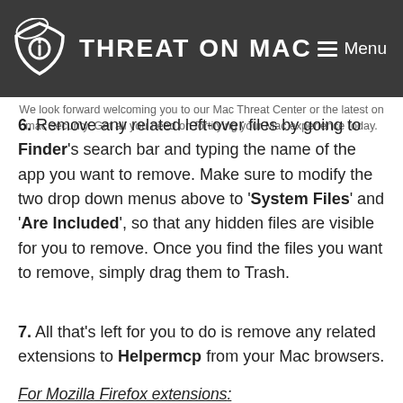THREAT ON MAC
We look forward welcoming you to our Mac Threat Center or the latest on mac security. Get all you need on fortifying your Mac experience today.
6. Remove any related left-over files by going to Finder's search bar and typing the name of the app you want to remove. Make sure to modify the two drop down menus above to 'System Files' and 'Are Included', so that any hidden files are visible for you to remove. Once you find the files you want to remove, simply drag them to Trash.
7. All that's left for you to do is remove any related extensions to Helpermcp from your Mac browsers.
For Mozilla Firefox extensions: